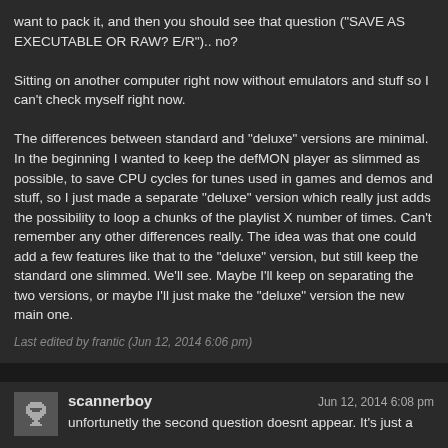want to pack it, and then you should see that question ("SAVE AS EXECUTABLE OR RAW? E/R").. no?

Sitting on another computer right now without emulators and stuff so I can't check myself right now.

The differences between standard and "deluxe" versions are minimal. In the beginning I wanted to keep the defMON player as slimmed as possible, to save CPU cycles for tunes used in games and demos and stuff, so I just made a separate "deluxe" version which really just adds the possibility to loop a chunks of the playlist X number of times. Can't remember any other differences really. The idea was that one could add a few features like that to the "deluxe" version, but still keep the standard one slimmed. We'll see. Maybe I'll keep on separating the two versions, or maybe I'll just make the "deluxe" version the new main one.
Last edited by frantic (Jun 12, 2014 6:06 pm)
unfortunetly the second question doesnt appear. It's just a
scannerboy  Jun 12, 2014 6:08 pm